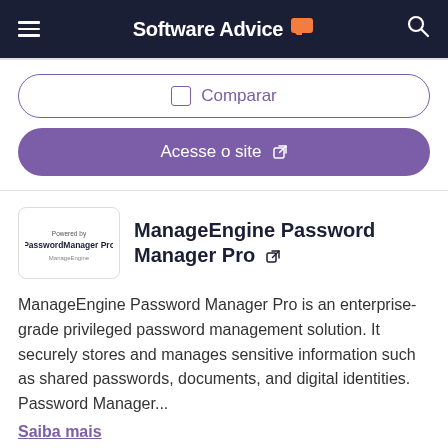Software Advice.
Comparar
Acesse o site
ManageEngine Password Manager Pro
ManageEngine Password Manager Pro is an enterprise-grade privileged password management solution. It securely stores and manages sensitive information such as shared passwords, documents, and digital identities. Password Manager...
Saiba mais
4,3 (20 avaliações)
Comparar